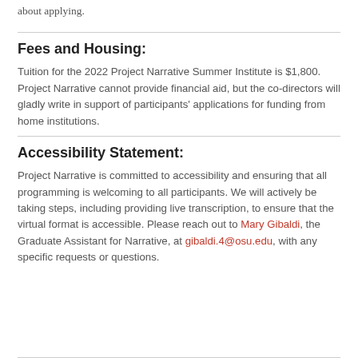about applying.
Fees and Housing:
Tuition for the 2022 Project Narrative Summer Institute is $1,800. Project Narrative cannot provide financial aid, but the co-directors will gladly write in support of participants' applications for funding from home institutions.
Accessibility Statement:
Project Narrative is committed to accessibility and ensuring that all programming is welcoming to all participants. We will actively be taking steps, including providing live transcription, to ensure that the virtual format is accessible. Please reach out to Mary Gibaldi, the Graduate Assistant for Narrative, at gibaldi.4@osu.edu, with any specific requests or questions.